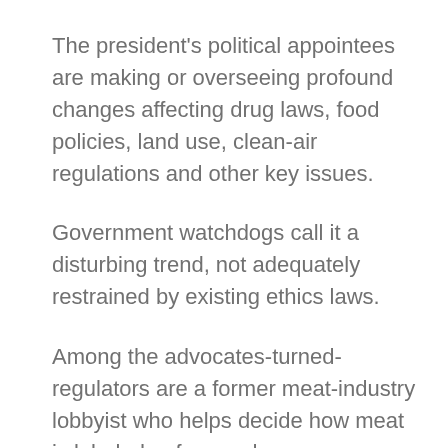The president's political appointees are making or overseeing profound changes affecting drug laws, food policies, land use, clean-air regulations and other key issues.
Government watchdogs call it a disturbing trend, not adequately restrained by existing ethics laws.
Among the advocates-turned-regulators are a former meat-industry lobbyist who helps decide how meat is labeled; a former drug-company lobbyist who influences prescription-drug policies; a former energy lobbyist who, while still accepting payments for bringing clients into his old lobbying firm, helps determine how much of the West those